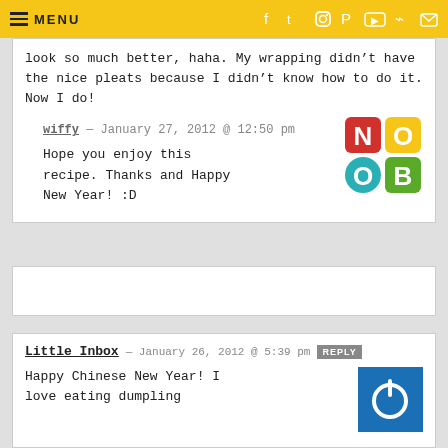MENU
look so much better, haha. My wrapping didn't have the nice pleats because I didn't know how to do it. Now I do!
wiffy — January 27, 2012 @ 12:50 pm
Hope you enjoy this recipe. Thanks and Happy New Year! :D
[Figure (logo): NOOB logo with colorful block letters: N (red), O (yellow), O (teal), B (green)]
Little Inbox — January 26, 2012 @ 5:39 pm
Happy Chinese New Year! I love eating dumpling
[Figure (logo): Blue square avatar with white power/circular icon]